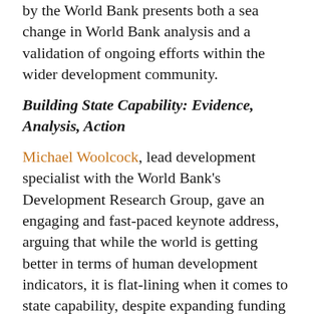by the World Bank presents both a sea change in World Bank analysis and a validation of ongoing efforts within the wider development community.
Building State Capability: Evidence, Analysis, Action
Michael Woolcock, lead development specialist with the World Bank's Development Research Group, gave an engaging and fast-paced keynote address, arguing that while the world is getting better in terms of human development indicators, it is flat-lining when it comes to state capability, despite expanding funding for capacity building. The problem?  We expect too much from institutions too soon.  "You can't juggle without the struggle" he said.  He recommended more energy be devoted to helping institutions develop capability through practice.  He introduced a process, Problem Driven Iterative Adaptation (PDIA), that governments can use to escape these capability traps. His new book, Building State Capability: Evidence, Analysis, Action, provides a practical guide to this new